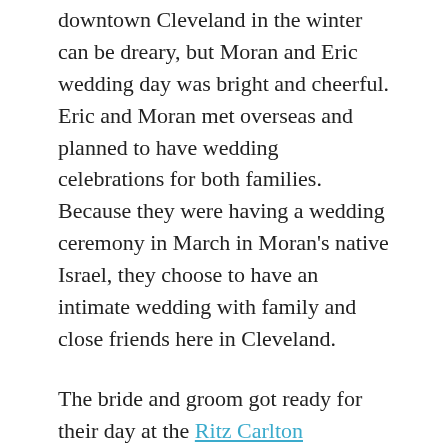downtown Cleveland in the winter can be dreary, but Moran and Eric wedding day was bright and cheerful. Eric and Moran met overseas and planned to have wedding celebrations for both families. Because they were having a wedding ceremony in March in Moran's native Israel, they choose to have an intimate wedding with family and close friends here in Cleveland.
The bride and groom got ready for their day at the Ritz Carlton downtown. The Ritz was the perfect venue for their intimate ceremony and reception. The hotel has gone through amazing renovations, including the lobby. It was great spot for their quick first look. With the sun on our side, we ventured outside of the Ritz for portraits on Public Square. Even after the leaves and flowers are gone, Public Square is an inviting space to take photographs.
Moran and Eric had a traditional Jewish wedding ceremony. Ceremony began surrounded by family the signing of a